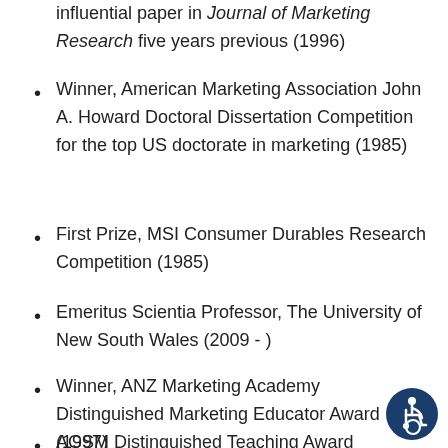influential paper in Journal of Marketing Research five years previous (1996)
Winner, American Marketing Association John A. Howard Doctoral Dissertation Competition for the top US doctorate in marketing (1985)
First Prize, MSI Consumer Durables Research Competition (1985)
Emeritus Scientia Professor, The University of New South Wales (2009 - )
Winner, ANZ Marketing Academy Distinguished Marketing Educator Award (1997)
AGSM Distinguished Teaching Award